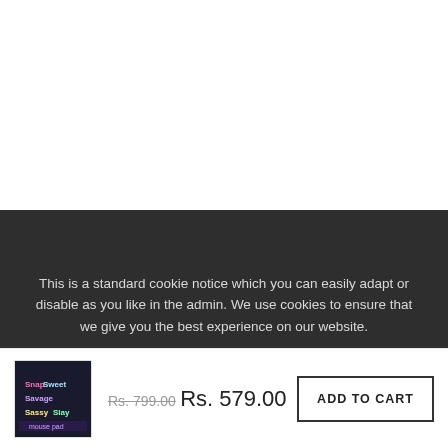This is a standard cookie notice which you can easily adapt or disable as you like in the admin. We use cookies to ensure that we give you the best experience on our website.
PRIVACY POLICY    ACCEPT ✓
[Figure (photo): Small product thumbnail showing a dark mouse pad with colorful neon-style text graphics]
Rs. 799.00  Rs. 579.00
ADD TO CART